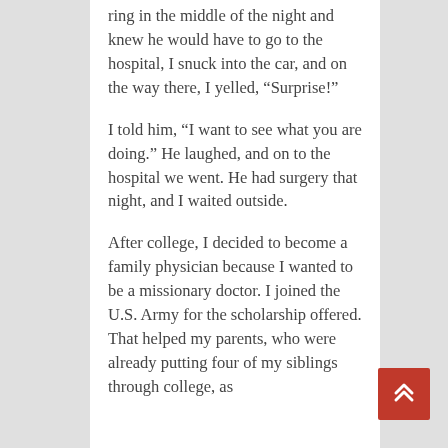ring in the middle of the night and knew he would have to go to the hospital, I snuck into the car, and on the way there, I yelled, “Surprise!”
I told him, “I want to see what you are doing.” He laughed, and on to the hospital we went. He had surgery that night, and I waited outside.
After college, I decided to become a family physician because I wanted to be a missionary doctor. I joined the U.S. Army for the scholarship offered. That helped my parents, who were already putting four of my siblings through college, as